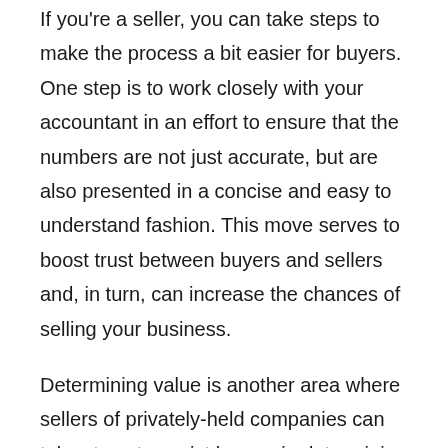If you're a seller, you can take steps to make the process a bit easier for buyers. One step is to work closely with your accountant in an effort to ensure that the numbers are not just accurate, but are also presented in a concise and easy to understand fashion. This move serves to boost trust between buyers and sellers and, in turn, can increase the chances of selling your business.
Determining value is another area where sellers of privately-held companies can take steps to assist buyers in determining price or value. Sellers should consider opting for an outside appraiser or expert when it comes to determining the value of their business. The opinion of an outside expert clearly carries more weight, and